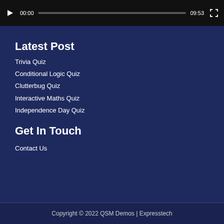[Figure (screenshot): Video player controls bar showing play button, time 00:00, progress bar, duration 09:53, and fullscreen button on dark background]
Latest Post
Trivia Quiz
Conditional Logic Quiz
Clutterbug Quiz
Interactive Maths Quiz
Independence Day Quiz
Get In Touch
Contact Us
Copyright © 2022 QSM Demos | Expresstech